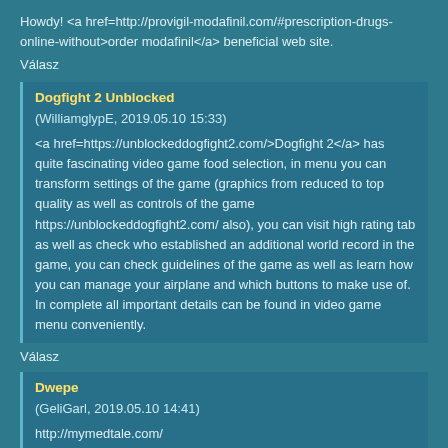Howdy! <a href=http://provigil-modafinil.com/#prescription-drugs-online-without>order modafinil</a> beneficial web site.
Válasz
Dogfight 2 Unblocked
(WilliamglypE, 2019.05.10 15:33)
<a href=https://unblockeddogfight2.com/>Dogfight 2</a> has quite fascinating video game food selection, in menu you can transform settings of the game (graphics from reduced to top quality as well as controls of the game https://unblockeddogfight2.com/ also), you can visit high rating tab as well as check who established an additional world record in the game, you can check guidelines of the game as well as learn how you can manage your airplane and which buttons to make use of. In complete all important details can be found in video game menu conveniently.
Válasz
Dwepe
(GeliGarl, 2019.05.10 14:41)
http://mymedtale.com/